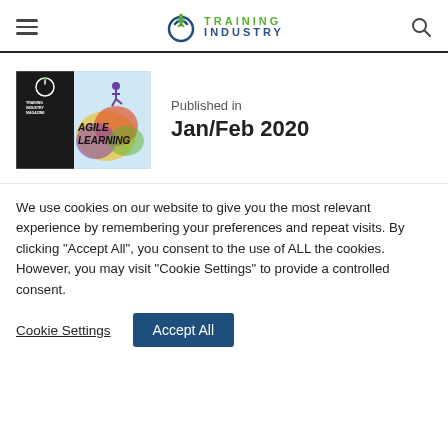Training Industry
[Figure (illustration): Training Industry Magazine cover featuring 'Agile Learning' edition with colorful abstract background and jumping figure silhouette]
Published in
Jan/Feb 2020
We use cookies on our website to give you the most relevant experience by remembering your preferences and repeat visits. By clicking “Accept All”, you consent to the use of ALL the cookies. However, you may visit “Cookie Settings” to provide a controlled consent.
Cookie Settings | Accept All